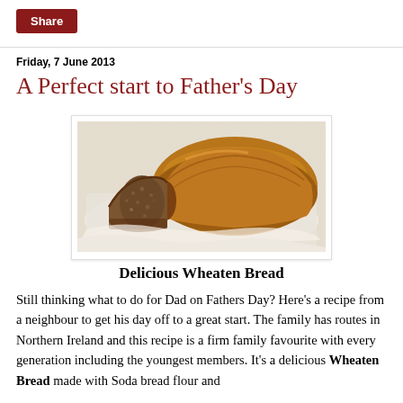Share
Friday, 7 June 2013
A Perfect start to Father's Day
[Figure (photo): A loaf of wheaten bread with one slice cut, placed on white paper/cloth. The bread has a golden-brown crust and a dense, seedy interior visible on the cut slice.]
Delicious Wheaten Bread
Still thinking what to do for Dad on Fathers Day? Here's a recipe from a neighbour to get his day off to a great start. The family has routes in Northern Ireland and this recipe is a firm family favourite with every generation including the youngest members. It's a delicious Wheaten Bread made with Soda bread flour and